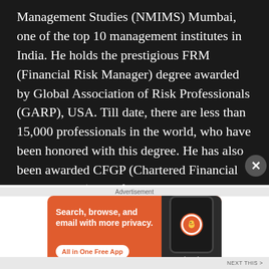Management Studies (NMIMS) Mumbai, one of the top 10 management institutes in India. He holds the prestigious FRM (Financial Risk Manager) degree awarded by Global Association of Risk Professionals (GARP), USA. Till date, there are less than 15,000 professionals in the world, who have been honored with this degree. He has also been awarded CFGP (Chartered Financial Goal Planner) Certification by AAFM (American Academy of Financial Management). After his MBA, he joined J P Morgan, the second largest Investment Bank in the world.
[Figure (screenshot): DuckDuckGo advertisement banner with orange background. Text reads: Search, browse, and email with more privacy. All in One Free App. Shows a phone with DuckDuckGo logo.]